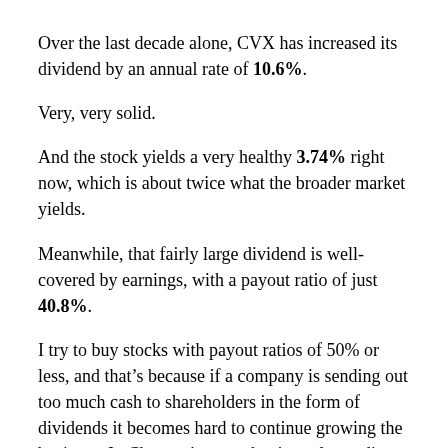Over the last decade alone, CVX has increased its dividend by an annual rate of 10.6%.
Very, very solid.
And the stock yields a very healthy 3.74% right now, which is about twice what the broader market yields.
Meanwhile, that fairly large dividend is well-covered by earnings, with a payout ratio of just 40.8%.
I try to buy stocks with payout ratios of 50% or less, and that’s because if a company is sending out too much cash to shareholders in the form of dividends it becomes hard to continue growing the business. In Chevron’s case, they’re only sending out ~41% of profits to shareholders, while